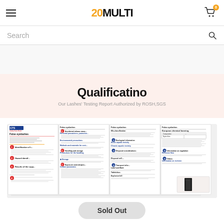20MULTI — navigation header with hamburger menu, logo, and cart icon (0 items)
Search
Qualificatino
Our Lashes' Testing Report Authorized by ROSH,SGS
[Figure (photo): Multi-page GTS Safety Data Sheet document for False Eyelashes, showing several pages of the testing report spread out]
Sold Out